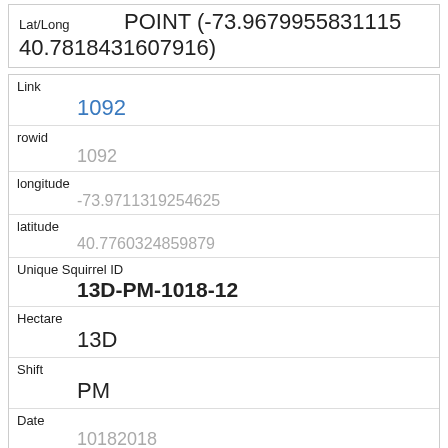| Field | Value |
| --- | --- |
| Lat/Long | POINT (-73.9679955831115 40.7818431607916) |
| Link | 1092 |
| rowid | 1092 |
| longitude | -73.9711319254625 |
| latitude | 40.7760324859879 |
| Unique Squirrel ID | 13D-PM-1018-12 |
| Hectare | 13D |
| Shift | PM |
| Date | 10182018 |
| Hectare Squirrel Number | 12 |